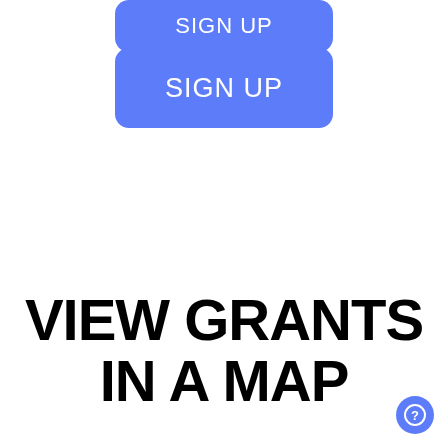[Figure (screenshot): Blue rounded button with white text reading SIGN UP (partially visible at top)]
[Figure (screenshot): Blue rounded button with white text reading SIGN UP]
VIEW GRANTS IN A MAP
[Figure (other): Blue circular help/question mark button in bottom right corner]